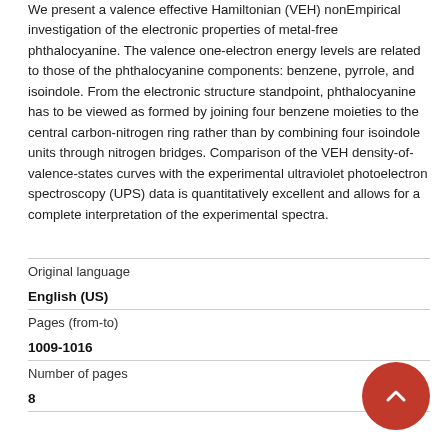We present a valence effective Hamiltonian (VEH) nonEmpirical investigation of the electronic properties of metal-free phthalocyanine. The valence one-electron energy levels are related to those of the phthalocyanine components: benzene, pyrrole, and isoindole. From the electronic structure standpoint, phthalocyanine has to be viewed as formed by joining four benzene moieties to the central carbon-nitrogen ring rather than by combining four isoindole units through nitrogen bridges. Comparison of the VEH density-of-valence-states curves with the experimental ultraviolet photoelectron spectroscopy (UPS) data is quantitatively excellent and allows for a complete interpretation of the experimental spectra.
| Field | Value |
| --- | --- |
| Original language | English (US) |
| Pages (from-to) | 1009-1016 |
| Number of pages | 8 |